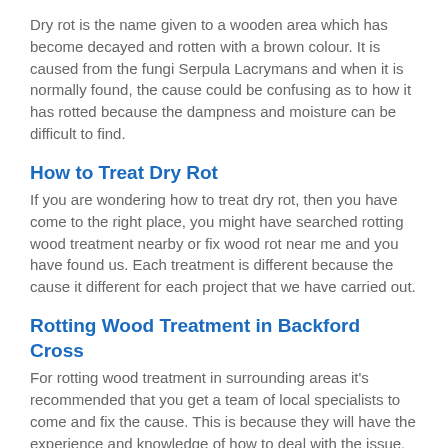Dry rot is the name given to a wooden area which has become decayed and rotten with a brown colour. It is caused from the fungi Serpula Lacrymans and when it is normally found, the cause could be confusing as to how it has rotted because the dampness and moisture can be difficult to find.
How to Treat Dry Rot
If you are wondering how to treat dry rot, then you have come to the right place, you might have searched rotting wood treatment nearby or fix wood rot near me and you have found us. Each treatment is different because the cause it different for each project that we have carried out.
Rotting Wood Treatment in Backford Cross
For rotting wood treatment in surrounding areas it's recommended that you get a team of local specialists to come and fix the cause. This is because they will have the experience and knowledge of how to deal with the issue.
There are companies in the industry who might claim that they know what to do but they could fix some of the issues and leave